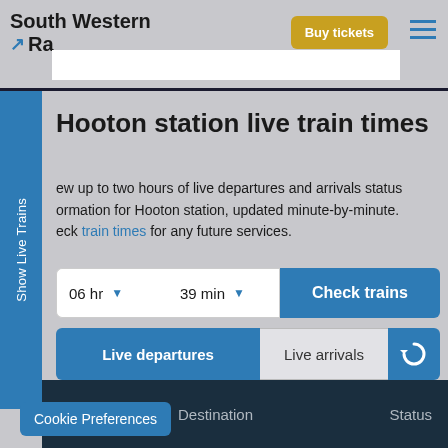South Western Railway
Hooton station live train times
View up to two hours of live departures and arrivals status information for Hooton station, updated minute-by-minute. Check train times for any future services.
06 hr  39 min  Check trains
Live departures  Live arrivals
| Departs | Destination | Status |
| --- | --- | --- |
Cookie Preferences